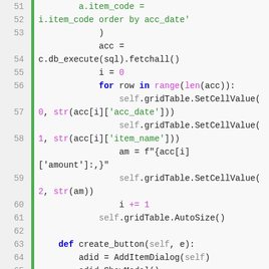Code listing lines 51-72, Python source code showing database query, grid table cell value setting, and button event handler methods